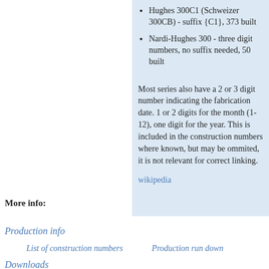Hughes 300C1 (Schweizer 300CB) - suffix {C1}, 373 built
Nardi-Hughes 300 - three digit numbers, no suffix needed, 50 built
Most series also have a 2 or 3 digit number indicating the fabrication date. 1 or 2 digits for the month (1-12), one digit for the year. This is included in the construction numbers where known, but may be ommited, it is not relevant for correct linking.
More info:
wikipedia
Production info
List of construction numbers
Production run down
Downloads
Download production run down
Latest Hughes H-269 pictures